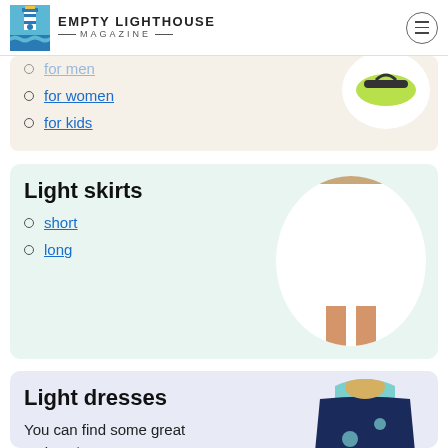EMPTY LIGHTHOUSE MAGAZINE
for men
for women
for kids
Light skirts
short
long
Light dresses
You can find some great options here